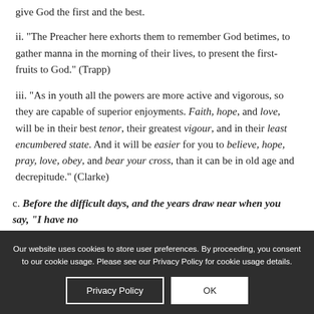give God the first and the best.
ii. “The Preacher here exhorts them to remember God betimes, to gather manna in the morning of their lives, to present the first-fruits to God.” (Trapp)
iii. “As in youth all the powers are more active and vigorous, so they are capable of superior enjoyments. Faith, hope, and love, will be in their best tenor, their greatest vigour, and in their least encumbered state. And it will be easier for you to believe, hope, pray, love, obey, and bear your cross, than it can be in old age and decrepitude.” (Clarke)
c. Before the difficult days, and the years draw near when you say, “I have no
Our website uses cookies to store user preferences. By proceeding, you consent to our cookie usage. Please see our Privacy Policy for cookie usage details.